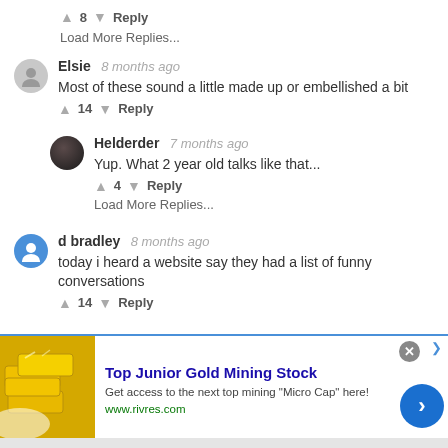↑ 8 ↓  Reply
Load More Replies...
Elsie  8 months ago
Most of these sound a little made up or embellished a bit
↑ 14 ↓  Reply
Helderder  7 months ago
Yup. What 2 year old talks like that...
↑ 4 ↓  Reply
Load More Replies...
d bradley  8 months ago
today i heard a website say they had a list of funny conversations
↑ 14 ↓  Reply
[Figure (screenshot): Advertisement for Top Junior Gold Mining Stock with gold bars image, blue arrow button, and close button. Text: 'Top Junior Gold Mining Stock', 'Get access to the next top mining "Micro Cap" here!', 'www.rivres.com']